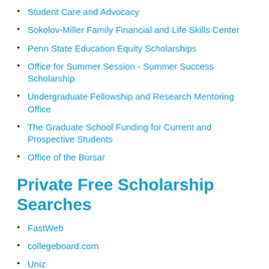Student Care and Advocacy
Sokolov-Miller Family Financial and Life Skills Center
Penn State Education Equity Scholarships
Office for Summer Session - Summer Success Scholarship
Undergraduate Fellowship and Research Mentoring Office
The Graduate School Funding for Current and Prospective Students
Office of the Bursar
Private Free Scholarship Searches
FastWeb
collegeboard.com
Uniz